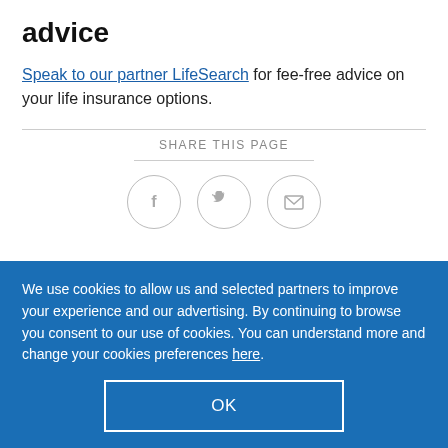advice
Speak to our partner LifeSearch for fee-free advice on your life insurance options.
SHARE THIS PAGE
[Figure (infographic): Three circular social share icons: Facebook (f), Twitter (bird), and Email (envelope), arranged horizontally with light grey borders.]
We use cookies to allow us and selected partners to improve your experience and our advertising. By continuing to browse you consent to our use of cookies. You can understand more and change your cookies preferences here.
OK